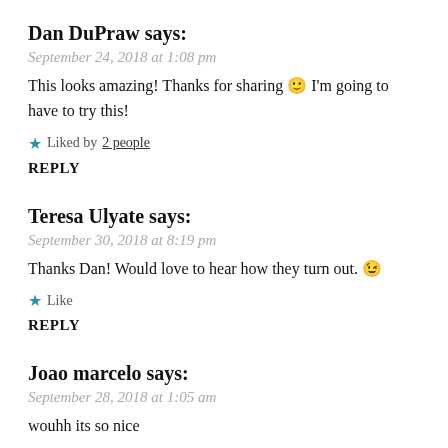Dan DuPraw says:
September 24, 2018 at 1:08 pm
This looks amazing! Thanks for sharing 🙂 I'm going to have to try this!
★ Liked by 2 people
REPLY
Teresa Ulyate says:
September 30, 2018 at 8:19 pm
Thanks Dan! Would love to hear how they turn out. 😉
★ Like
REPLY
Joao marcelo says:
September 28, 2018 at 1:05 am
wouhh its so nice